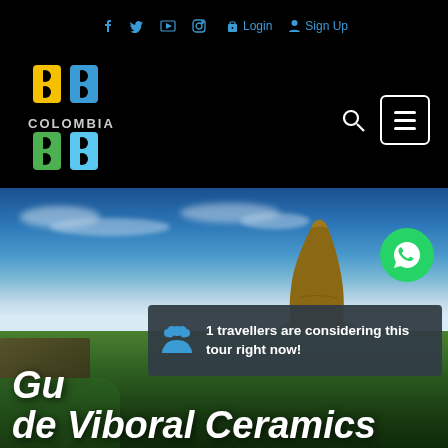f  Twitter  YouTube  Instagram  Login  Sign Up
[Figure (logo): BnB Colombia logo with colorful B letters and 'COLOMBIA' text]
[Figure (photo): Landscape photo of La Piedra del Peñol rock formation in Guatape, Colombia with blue sky and green foreground]
1 travellers are considering this tour right now!
Gu... de Viboral Ceramics